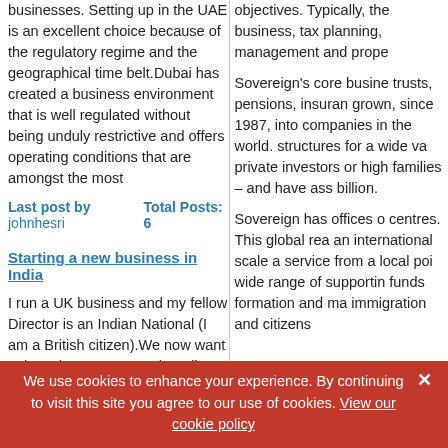businesses. Setting up in the UAE is an excellent choice because of the regulatory regime and the geographical time belt.Dubai has created a business environment that is well regulated without being unduly restrictive and offers operating conditions that are amongst the most
Last post by johnhesri   Total Posts: 6
Starting a new business in India
I run a UK business and my fellow Director is an Indian National (I am a British citizen).We now want to launch our company in India and I am struggling to make any progress with the Indian High Commission. Can anyone help me with the process. I have twice visited the commission in London and wasted hours of time due to their complete lack of organisation.I will appreciate any help to
objectives. Typically, the business, tax planning, management and prope
Sovereign's core busine trusts, pensions, insuran grown, since 1987, into companies in the world. structures for a wide va private investors or high families – and have ass billion.
Sovereign has offices o centres. This global rea an international scale a service from a local poi wide range of supportin funds formation and ma immigration and citizens
We use cookies to enhance your experience. By continuing to visit this site you agree to our use of cookies. View our cookie policy